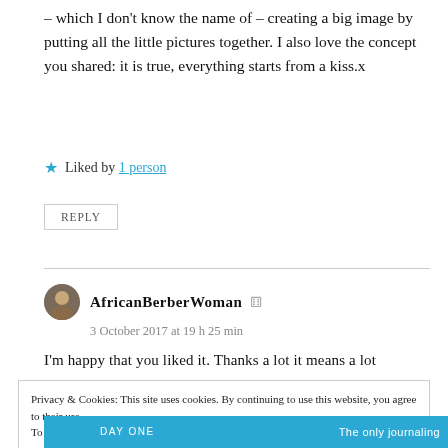– which I don't know the name of – creating a big image by putting all the little pictures together. I also love the concept you shared: it is true, everything starts from a kiss.x
★ Liked by 1 person
REPLY
AfricanBerberWoman
3 October 2017 at 19 h 25 min
I'm happy that you liked it. Thanks a lot it means a lot
Privacy & Cookies: This site uses cookies. By continuing to use this website, you agree to their use.
To find out more, including how to control cookies, see here: Cookie Policy
Close and accept
DAY ONE  The only journaling